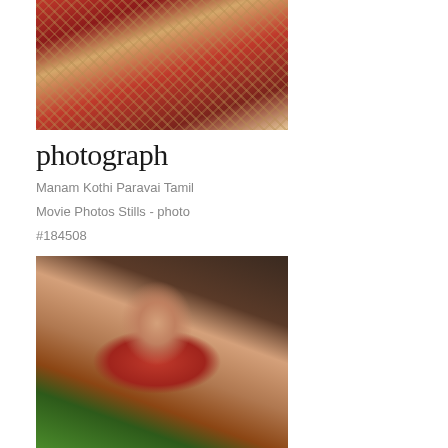[Figure (photo): Close-up photo of a woman wearing a red and gold embroidered saree, top portion cropped showing the saree fabric and shoulder area]
photograph
Manam Kothi Paravai Tamil
Movie Photos Stills - photo
#184508
[Figure (photo): Portrait photo of a smiling young Indian woman with long dark hair leaning against a tree, wearing red outfit and jewelry including earrings and necklace]